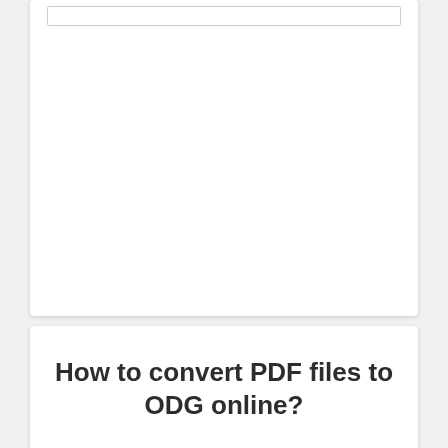[Figure (screenshot): A white card UI element with an input/search bar at the top and a large blank white area below, shown on a light gray background.]
How to convert PDF files to ODG online?